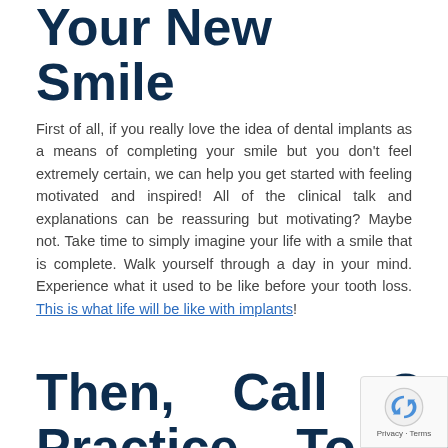Your New Smile
First of all, if you really love the idea of dental implants as a means of completing your smile but you don't feel extremely certain, we can help you get started with feeling motivated and inspired! All of the clinical talk and explanations can be reassuring but motivating? Maybe not. Take time to simply imagine your life with a smile that is complete. Walk yourself through a day in your mind. Experience what it used to be like before your tooth loss. This is what life will be like with implants!
Then, Call Our Practice To G…